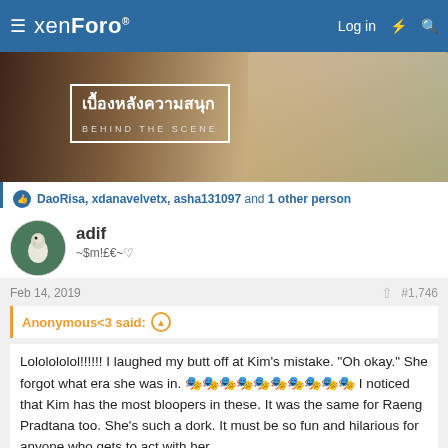xenForo — Log in
[Figure (photo): Behind-the-scenes video thumbnail with Thai text overlay reading 'เบื้องหลังความสนุก / BEHIND THE SCENE']
DaoRisa, xdanavelvetx, asha131097 and 1 other person
adif
~$m!£€~♡
Feb 14, 2019
#1,746
Anonymous<3 said:
Lololololol!!!!!! I laughed my butt off at Kim's mistake. "Oh okay." She forgot what era she was in. 🎭🎭🎭🎭🎭🎭🎭🎭🎭🎭 I noticed that Kim has the most bloopers in these. It was the same for Raeng Pradtana too. She's such a dork. It must be so fun and hilarious for anyone who gets to act with her.